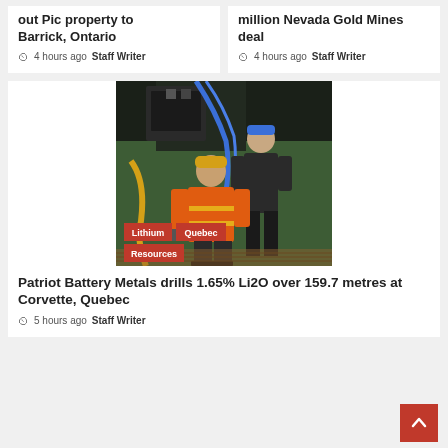out Pic property to Barrick, Ontario
4 hours ago  Staff Writer
million Nevada Gold Mines deal
4 hours ago  Staff Writer
[Figure (photo): Mining drill site with two workers in hard hats and safety gear operating drilling equipment indoors. Tags: Lithium, Quebec, Resources]
Patriot Battery Metals drills 1.65% Li2O over 159.7 metres at Corvette, Quebec
5 hours ago  Staff Writer